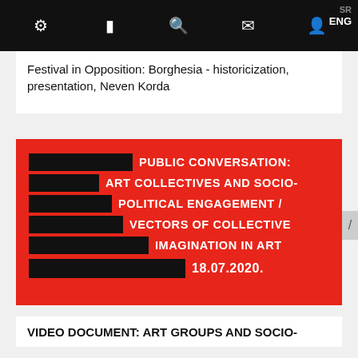SR ENG [navigation icons]
Festival in Opposition: Borghesia - historicization, presentation, Neven Korda
[Figure (illustration): Red event card with black redacted blocks and white text reading: PUBLIC CONVERSATION: ART COLLECTIVES AND SOCIO-POLITICAL ENGAGEMENT / VECTORS OF COLLECTIVE IMAGINATION IN ART 18.07.2020.]
VIDEO DOCUMENT: ART GROUPS AND SOCIO-